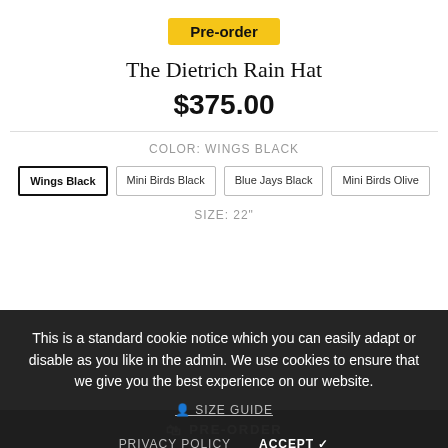Pre-order
The Dietrich Rain Hat
$375.00
COLOR: WINGS BLACK
Wings Black
Mini Birds Black
Blue Jays Black
Mini Birds Olive
SIZE: 22"
This is a standard cookie notice which you can easily adapt or disable as you like in the admin. We use cookies to ensure that we give you the best experience on our website.
SIZE GUIDE
PRIVACY POLICY
ACCEPT ✓
PRE-ORDER